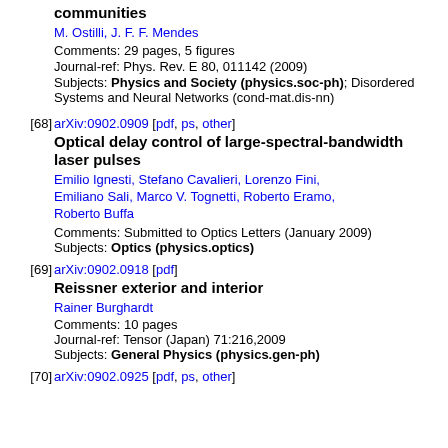communities
M. Ostilli, J. F. F. Mendes
Comments: 29 pages, 5 figures
Journal-ref: Phys. Rev. E 80, 011142 (2009)
Subjects: Physics and Society (physics.soc-ph); Disordered Systems and Neural Networks (cond-mat.dis-nn)
[68] arXiv:0902.0909 [pdf, ps, other]
Optical delay control of large-spectral-bandwidth laser pulses
Emilio Ignesti, Stefano Cavalieri, Lorenzo Fini, Emiliano Sali, Marco V. Tognetti, Roberto Eramo, Roberto Buffa
Comments: Submitted to Optics Letters (January 2009)
Subjects: Optics (physics.optics)
[69] arXiv:0902.0918 [pdf]
Reissner exterior and interior
Rainer Burghardt
Comments: 10 pages
Journal-ref: Tensor (Japan) 71:216,2009
Subjects: General Physics (physics.gen-ph)
[70] arXiv:0902.0925 [pdf, ps, other]